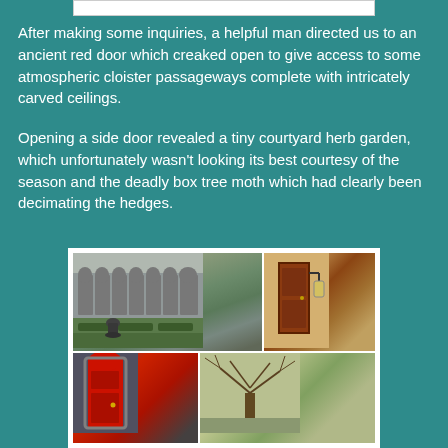[Figure (photo): Partial top image bar visible at top of page]
After making some inquiries, a helpful man directed us to an ancient red door which creaked open to give access to some atmospheric cloister passageways complete with intricately carved ceilings.
Opening a side door revealed a tiny courtyard herb garden, which unfortunately wasn't looking its best courtesy of the season and the deadly box tree moth which had clearly been decimating the hedges.
[Figure (photo): Collage of four photos: top-left shows gothic cathedral courtyard with herb garden hedges and ornamental urn, top-right shows an old door with iron lamp bracket, bottom-left shows a red door entrance, bottom-right shows a bare tree in a courtyard]